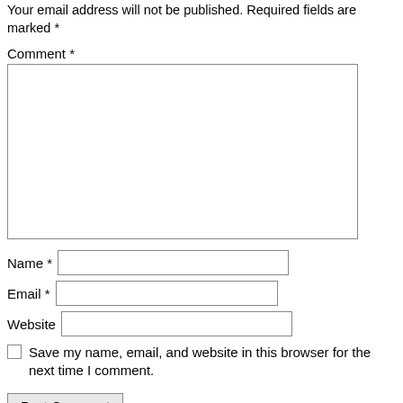Your email address will not be published. Required fields are marked *
Comment *
Name *
Email *
Website
Save my name, email, and website in this browser for the next time I comment.
Post Comment